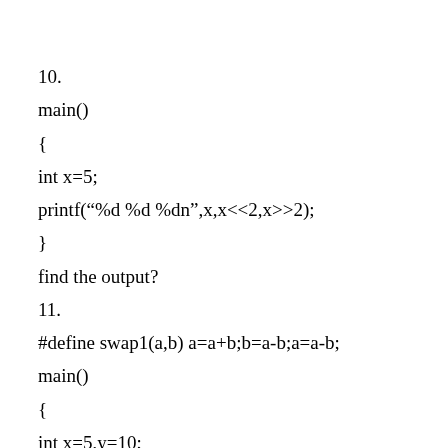10.
main()
{
int x=5;
printf("%d %d %dn",x,x<<2,x>>2);
}
find the output?
11.
#define swap1(a,b) a=a+b;b=a-b;a=a-b;
main()
{
int x=5,y=10;